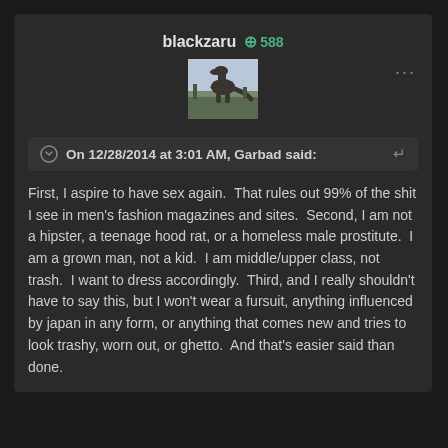blackzaru  +588
[Figure (photo): User avatar showing a dinosaur (T-Rex like) statue or sculpture outdoors against a pale sky]
On 12/28/2014 at 3:01 AM, Garbad said:
First, I aspire to have sex again.  That rules out 99% of the shit I see in men's fashion magazines and sites.  Second, I am not a hipster, a teenage hood rat, or a homeless male prostitute.  I am a grown man, not a kid.  I am middle/upper class, not trash.  I want to dress accordingly.  Third, and I really shouldn't have to say this, but I won't wear a fursuit, anything influenced by japan in any form, or anything that comes new and tries to look trashy, worn out, or ghetto.  And that's easier said than done.